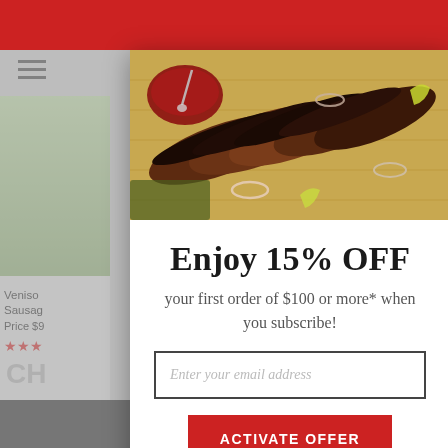[Figure (screenshot): E-commerce website popup modal offering 15% OFF first order of $100 or more when subscribing. Background shows a BBQ/meat website with red header, product listings, and bottom navigation bar. The modal contains a food photo of sliced brisket on a cutting board, an email input field, an ACTIVATE OFFER button, and a No Thank You link.]
Enjoy 15% OFF
your first order of $100 or more* when you subscribe!
Enter your email address
ACTIVATE OFFER
No Thank You